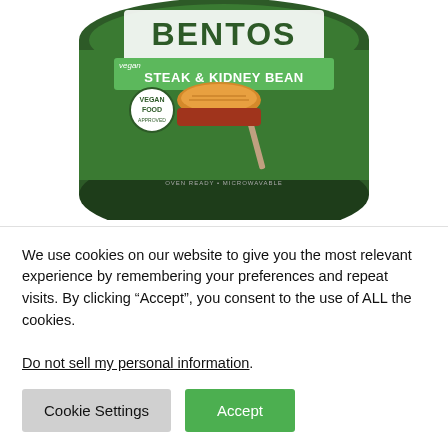[Figure (photo): Fray Bentos Vegan Steak & Kidney Bean Pie tin/can product image showing the green circular can lid with the brand name BENTOS at top, a green banner reading 'STEAK & KIDNEY BEAN' with 'vegan' tag, and an image of a pie on a fork. A 'Vegan Food' certification badge is visible.]
FRAY BENTOS VEGAN STEAK & KIDNEY BEAN PIE
£0.65
We use cookies on our website to give you the most relevant experience by remembering your preferences and repeat visits. By clicking “Accept”, you consent to the use of ALL the cookies.
Do not sell my personal information.